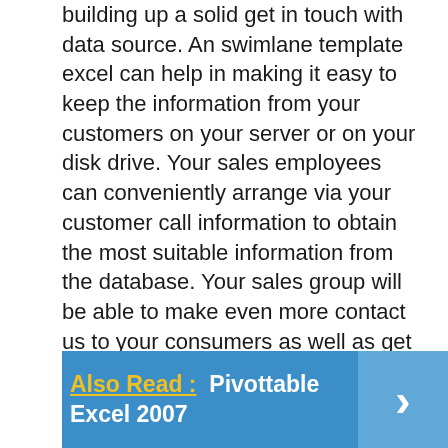building up a solid get in touch with data source. An swimlane template excel can help in making it easy to keep the information from your customers on your server or on your disk drive. Your sales employees can conveniently arrange via your customer call information to obtain the most suitable information from the database. Your sales group will be able to make even more contact us to your consumers as well as get to know them better. If you intend to conserve more time and money, you can utilize a customized swimlane template excel as an reliable CRM tool for your firm.
Also Read :  Pivottable Excel 2007